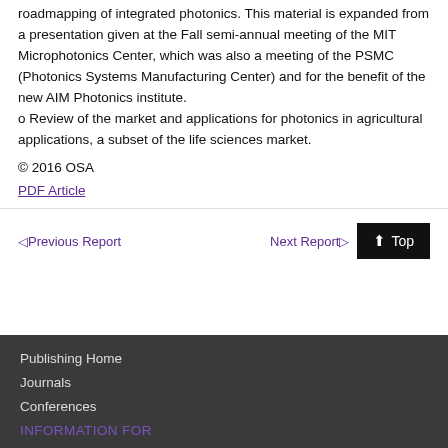roadmapping of integrated photonics. This material is expanded from a presentation given at the Fall semi-annual meeting of the MIT Microphotonics Center, which was also a meeting of the PSMC (Photonics Systems Manufacturing Center) and for the benefit of the new AIM Photonics institute. o Review of the market and applications for photonics in agricultural applications, a subset of the life sciences market.
© 2016 OSA
PDF Article
◁ Previous Report    Next Report ▷   ⬆ Top
Publishing Home
Journals
Conferences
INFORMATION FOR